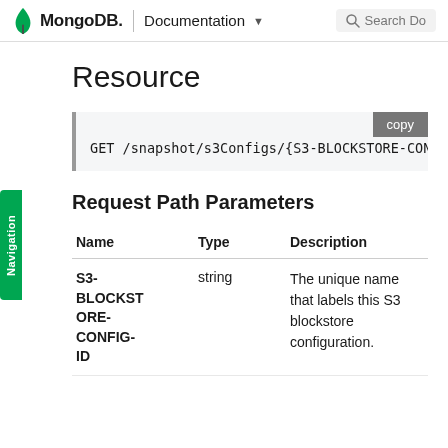MongoDB. | Documentation  Search Do
Resource
GET /snapshot/s3Configs/{S3-BLOCKSTORE-CONFIG-I
Request Path Parameters
| Name | Type | Description |
| --- | --- | --- |
| S3-BLOCKSTORE-CONFIG-ID | string | The unique name that labels this S3 blockstore configuration. |